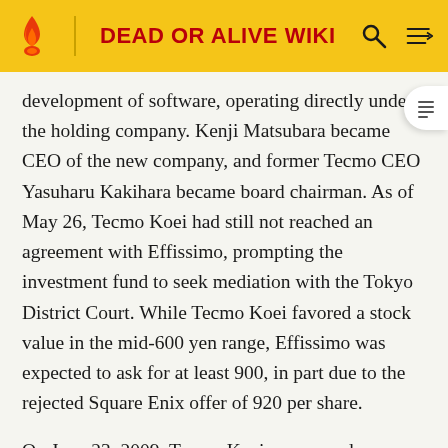DEAD OR ALIVE WIKI
development of software, operating directly under the holding company. Kenji Matsubara became CEO of the new company, and former Tecmo CEO Yasuharu Kakihara became board chairman. As of May 26, Tecmo Koei had still not reached an agreement with Effissimo, prompting the investment fund to seek mediation with the Tokyo District Court. While Tecmo Koei favored a stock value in the mid-600 yen range, Effissimo was expected to ask for at least 900, in part due to the rejected Square Enix offer of 920 per share.
On June 23, 2009, Tecmo Koei announced a planned restructure of its international subsidiaries. Tecmo's sole subsidiary, the American Tecmo Inc., and Koei's American